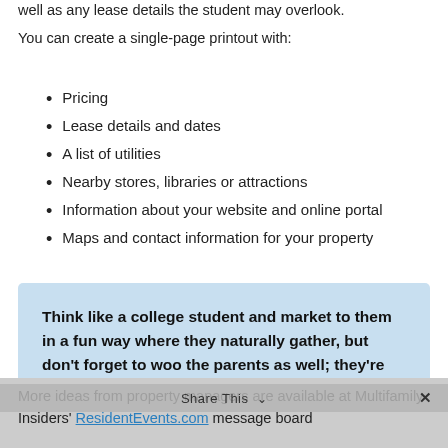well as any lease details the student may overlook.
You can create a single-page printout with:
Pricing
Lease details and dates
A list of utilities
Nearby stores, libraries or attractions
Information about your website and online portal
Maps and contact information for your property
Think like a college student and market to them in a fun way where they naturally gather, but don’t forget to woo the parents as well; they’re the spenders.
More ideas from property managers are available at Multifamily Insiders’ ResidentEvents.com message board